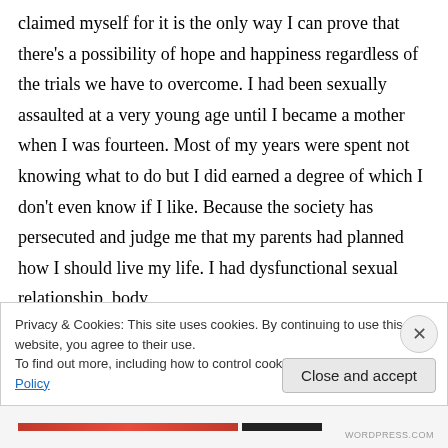claimed myself for it is the only way I can prove that there's a possibility of hope and happiness regardless of the trials we have to overcome. I had been sexually assaulted at a very young age until I became a mother when I was fourteen. Most of my years were spent not knowing what to do but I did earned a degree of which I don't even know if I like. Because the society has persecuted and judge me that my parents had planned how I should live my life. I had dysfunctional sexual relationship, body
Privacy & Cookies: This site uses cookies. By continuing to use this website, you agree to their use.
To find out more, including how to control cookies, see here: Cookie Policy
Close and accept
WORDPRESS.COM